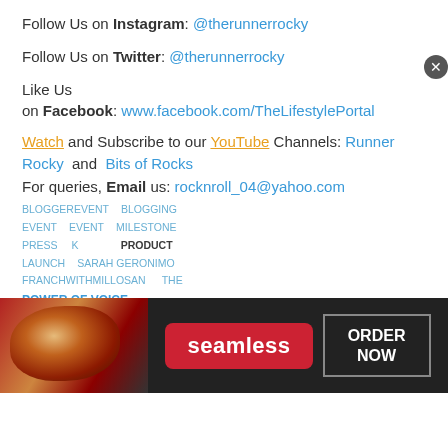Follow Us on Instagram: @therunnerrocky
Follow Us on Twitter: @therunnerrocky
Like Us on Facebook: www.facebook.com/TheLifestylePortal
Watch and Subscribe to our YouTube Channels: Runner Rocky and Bits of Rocks
For queries, Email us: rocknroll_04@yahoo.com
BLOGGEREVENT BLOGGING EVENT EVENT MILESTONE PRESS K LAUNCH PRODUCTLAUNCH SARAH GERONIMO FRANCHWTHMILLOSAN THE POWER OF VOICE
[Figure (other): Social sharing icons: Facebook, Twitter, Google+, Pinterest]
Next
[Figure (other): Advertisement banner: Seamless food delivery - ORDER NOW]